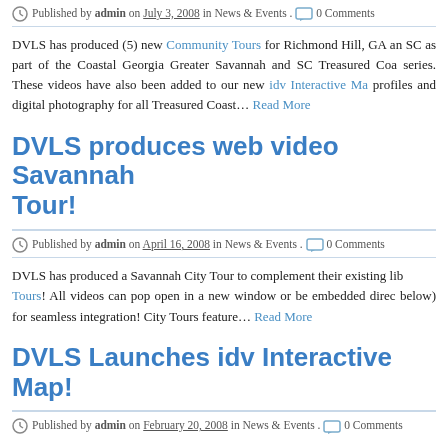Published by admin on July 3, 2008 in News & Events. 0 Comments
DVLS has produced (5) new Community Tours for Richmond Hill, GA and SC as part of the Coastal Georgia Greater Savannah and SC Treasured Coast series. These videos have also been added to our new idv Interactive Map profiles and digital photography for all Treasured Coast… Read More
DVLS produces web video Savannah Tour!
Published by admin on April 16, 2008 in News & Events. 0 Comments
DVLS has produced a Savannah City Tour to complement their existing lib… Tours! All videos can pop open in a new window or be embedded direct below) for seamless integration! City Tours feature… Read More
DVLS Launches idv Interactive Map!
Published by admin on February 20, 2008 in News & Events. 0 Comments